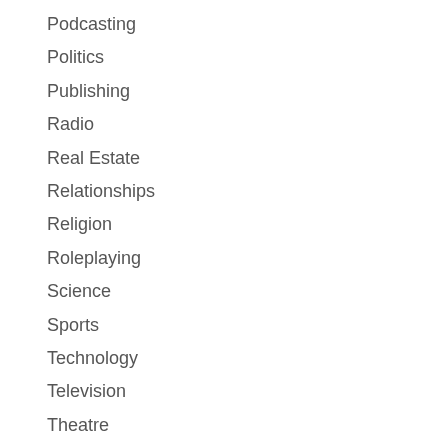Podcasting
Politics
Publishing
Radio
Real Estate
Relationships
Religion
Roleplaying
Science
Sports
Technology
Television
Theatre
Travel
Uncategorized